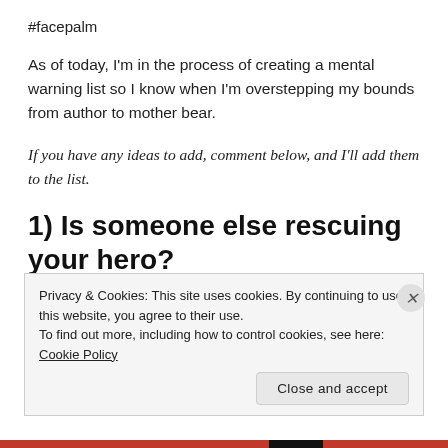#facepalm
As of today, I'm in the process of creating a mental warning list so I know when I'm overstepping my bounds from author to mother bear.
If you have any ideas to add, comment below, and I'll add them to the list.
1) Is someone else rescuing your hero?
Does someone sweep in when the money runs out? Pull
Privacy & Cookies: This site uses cookies. By continuing to use this website, you agree to their use.
To find out more, including how to control cookies, see here: Cookie Policy
Close and accept